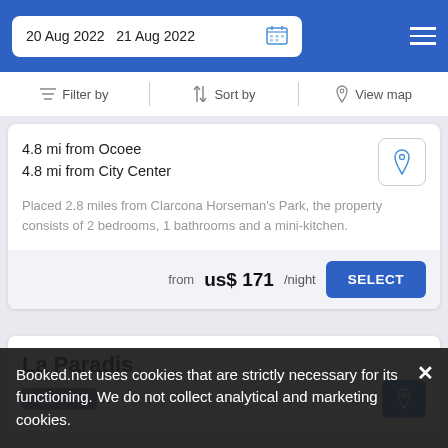20 Aug 2022   21 Aug 2022
Filter by   Sort by   View map
4.8 mi from Ocoee
4.8 mi from City Center
Placed 2.8 miles from Clarcona Horseman's Park, the property consists of 2 bedrooms, 1 bathrooms and a mini-kitchen.
from us$ 171/night
SELECT
La Paradis
Apartment
Booked.net uses cookies that are strictly necessary for its functioning. We do not collect analytical and marketing cookies.